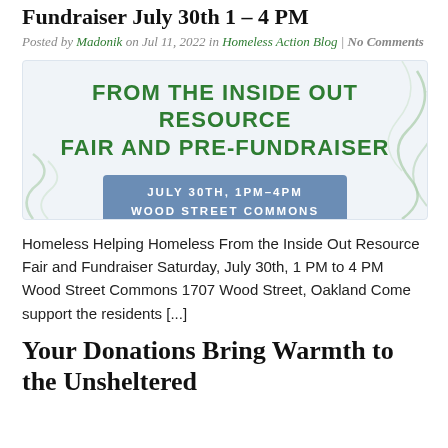Fundraiser July 30th 1 – 4 PM
Posted by Madonik on Jul 11, 2022 in Homeless Action Blog | No Comments
[Figure (illustration): Event banner for 'From the Inside Out Resource Fair and Pre-Fundraiser', July 30th, 1pm-4pm, Wood Street Commons, with decorative leaf/line elements.]
Homeless Helping Homeless From the Inside Out Resource Fair and Fundraiser Saturday, July 30th, 1 PM to 4 PM Wood Street Commons 1707 Wood Street, Oakland Come support the residents [...]
Your Donations Bring Warmth to the Unsheltered